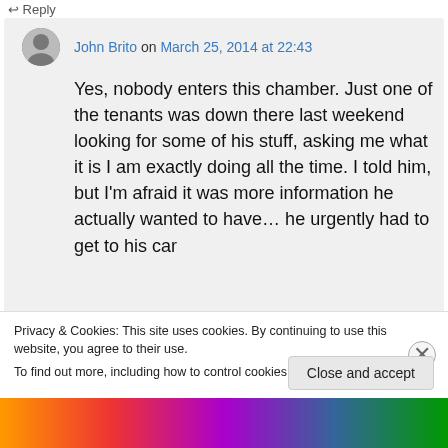↩ Reply
John Brito on March 25, 2014 at 22:43
Yes, nobody enters this chamber. Just one of the tenants was down there last weekend looking for some of his stuff, asking me what it is I am exactly doing all the time. I told him, but I'm afraid it was more information he actually wanted to have... he urgently had to get to his car
Privacy & Cookies: This site uses cookies. By continuing to use this website, you agree to their use.
To find out more, including how to control cookies, see here: Cookie Policy
Close and accept